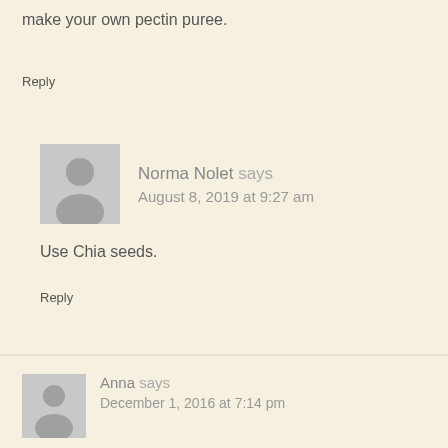make your own pectin puree.
Reply
Norma Nolet says
August 8, 2019 at 9:27 am
Use Chia seeds.
Reply
Anna says
December 1, 2016 at 7:14 pm